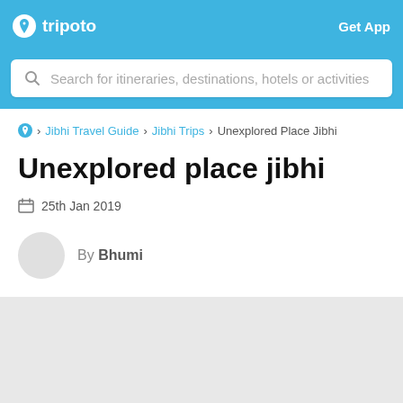tripoto  Get App
Search for itineraries, destinations, hotels or activities
Jibhi Travel Guide › Jibhi Trips › Unexplored Place Jibhi
Unexplored place jibhi
25th Jan 2019
By Bhumi